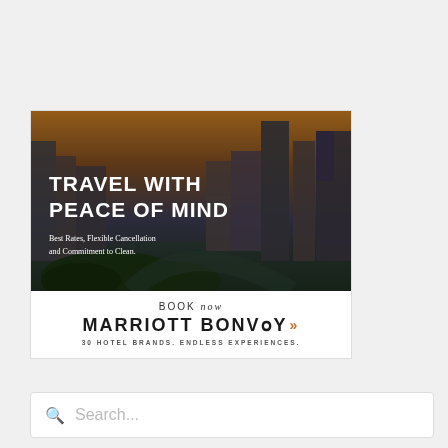[Figure (advertisement): Marriott Bonvoy advertisement showing city skyline at sunset with text 'TRAVEL WITH PEACE OF MIND' and subtext 'Best Rates, Flexible Cancellation and Commitment to Clean.' Below is a white footer with 'BOOK now', 'MARRIOTT BONVOY' logo with orange chevrons, and tagline '30 HOTEL BRANDS. ENDLESS EXPERIENCES.']
[Figure (screenshot): Search bar with magnifying glass icon and placeholder text 'Search...']